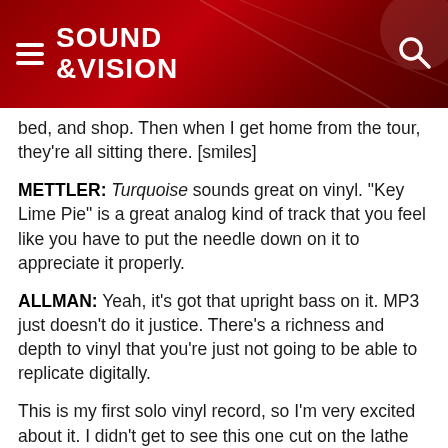SOUND & VISION
in a hotel room, I'll get on Amazon, crash on the bed, and shop. Then when I get home from the tour, they're all sitting there. [smiles]
METTLER: Turquoise sounds great on vinyl. "Key Lime Pie" is a great analog kind of track that you feel like you have to put the needle down on it to appreciate it properly.
ALLMAN: Yeah, it's got that upright bass on it. MP3 just doesn't do it justice. There's a richness and depth to vinyl that you're just not going to be able to replicate digitally.
This is my first solo vinyl record, so I'm very excited about it. I didn't get to see this one cut on the lathe